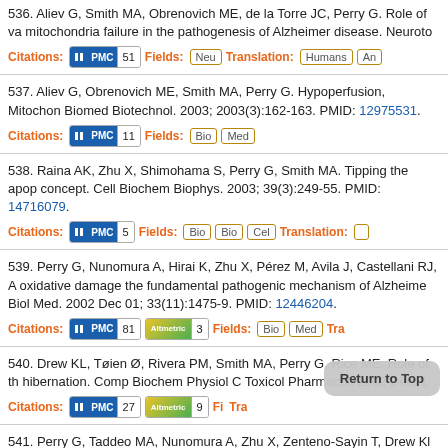536. Aliev G, Smith MA, Obrenovich ME, de la Torre JC, Perry G. Role of vascular risk factors in the pathogenesis of Alzheimer disease. Citations: PMC 51 Fields: Neu Translation: Humans An
537. Aliev G, Obrenovich ME, Smith MA, Perry G. Hypoperfusion, Mitochondria Failure... J Biomed Biotechnol. 2003; 2003(3):162-163. PMID: 12975531. Citations: PMC 11 Fields: Bio Med
538. Raina AK, Zhu X, Shimohama S, Perry G, Smith MA. Tipping the apoptotic balance in Alzheimer's disease: the concept. Cell Biochem Biophys. 2003; 39(3):249-55. PMID: 14716079. Citations: PMC 5 Fields: Bio Bio Cel Translation:
539. Perry G, Nunomura A, Hirai K, Zhu X, Pérez M, Avila J, Castellani RJ, A... oxidative damage the fundamental pathogenic mechanism of Alzheimer... Free Radic Biol Med. 2002 Dec 01; 33(11):1475-9. PMID: 12446204. Citations: PMC 81 Altmetric 3 Fields: Bio Med Tra
540. Drew KL, Tøien Ø, Rivera PM, Smith MA, Perry G, Rice ME. Role of th... hibernation. Comp Biochem Physiol C Toxicol Pharmacol. 2002 Dec; 1... Citations: PMC 27 Altmetric 9 Fi Tra
541. Perry G, Taddeo MA, Nunomura A, Zhu X, Zenteno-Savin T, Drew KL...